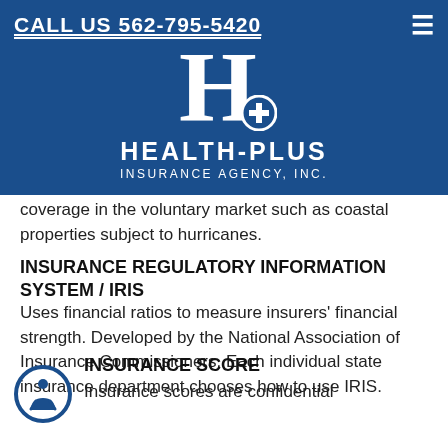CALL US 562-795-5420
[Figure (logo): Health-Plus Insurance Agency, Inc. logo with large H and plus symbol in a blue banner]
coverage in the voluntary market such as coastal properties subject to hurricanes.
INSURANCE REGULATORY INFORMATION SYSTEM / IRIS
Uses financial ratios to measure insurers' financial strength. Developed by the National Association of Insurance Commissioners. Each individual state insurance department chooses how to use IRIS.
INSURANCE SCORE
Insurance scores are confidential